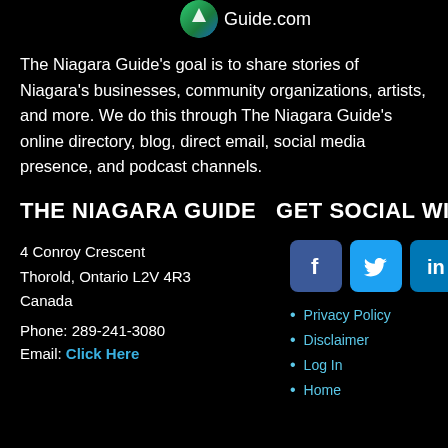[Figure (logo): Niagara Guide logo with green/blue circle icon and 'Guide.com' text]
The Niagara Guide's goal is to share stories of Niagara's businesses, community organizations, artists, and more. We do this through The Niagara Guide's online directory, blog, direct email, social media presence, and podcast channels.
THE NIAGARA GUIDE   GET SOCIAL WITH US!
4 Conroy Crescent
Thorold, Ontario L2V 4R3
Canada
[Figure (infographic): Row of three social media icon buttons: Facebook (dark blue), Twitter (light blue), LinkedIn (blue)]
Phone: 289-241-3080
Email: Click Here
Privacy Policy
Disclaimer
Log In
Home